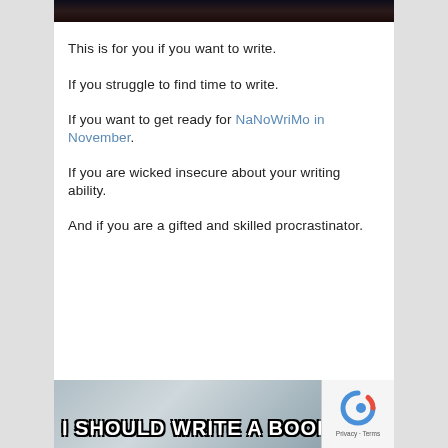[Figure (photo): Dark image at top of page (partial, cropped)]
This is for you if you want to write.
If you struggle to find time to write.
If you want to get ready for NaNoWriMo in November.
If you are wicked insecure about your writing ability.
And if you are a gifted and skilled procrastinator.
[Figure (photo): Meme image at bottom with text 'I SHOULD WRITE A BOOK' over a light blue curtain background]